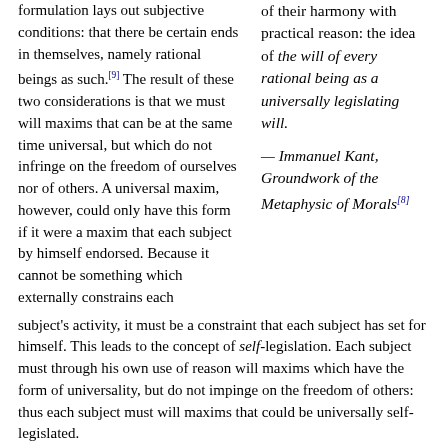formulation lays out subjective conditions: that there be certain ends in themselves, namely rational beings as such.[9] The result of these two considerations is that we must will maxims that can be at the same time universal, but which do not infringe on the freedom of ourselves nor of others. A universal maxim, however, could only have this form if it were a maxim that each subject by himself endorsed. Because it cannot be something which externally constrains each subject's activity, it must be a constraint that each subject has set for himself. This leads to the concept of self-legislation. Each subject must through his own use of reason will maxims which have the form of universality, but do not impinge on the freedom of others: thus each subject must will maxims that could be universally self-legislated.
of their harmony with practical reason: the idea of the will of every rational being as a universally legislating will.
— Immanuel Kant, Groundwork of the Metaphysic of Morals[8]
The result, of course, is a formulation of the categorical imperative that contains much of the same as the first two. We must will something that we could at the same time freely will of ourselves